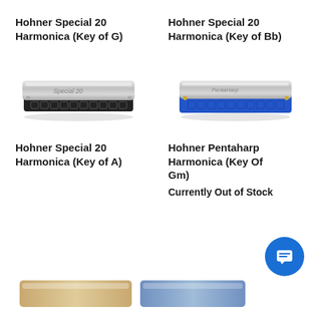Hohner Special 20 Harmonica (Key of G)
Hohner Special 20 Harmonica (Key of Bb)
[Figure (photo): Hohner Special 20 Harmonica with silver/chrome body and black plastic cover, side view]
[Figure (photo): Hohner Pentaharp Harmonica with blue plastic body and silver top plate, side view]
Hohner Special 20 Harmonica (Key of A)
Hohner Pentaharp Harmonica (Key Of Gm)
Currently Out of Stock